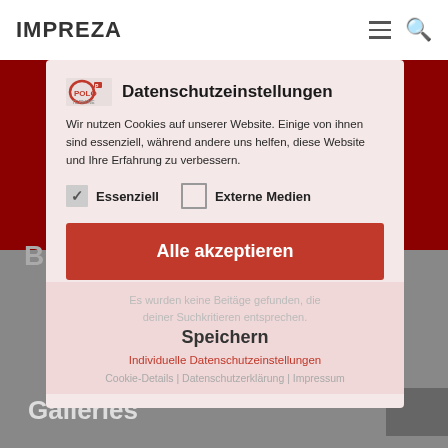IMPREZA
Datenschutzeinstellungen
Wir nutzen Cookies auf unserer Website. Einige von ihnen sind essenziell, während andere uns helfen, diese Website und Ihre Erfahrung zu verbessern.
✓ Essenziell
□ Externe Medien
Alle akzeptieren
Es wurden keine Beiträge gefunden, die deiner Suchlkriterien entsprechen.
Speichern
Individuelle Datenschutzeinstellungen
Cookie-Details | Datenschutzerklärung | Impressum
Blog Posts
Galleries